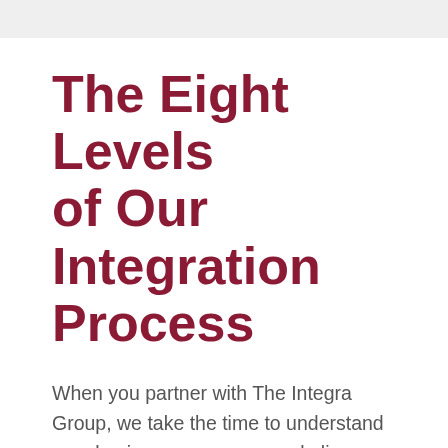The Eight Levels of Our Integration Process
When you partner with The Integra Group, we take the time to understand your business processes and align a fully integrated software solution with your team's workflows. To accomplish